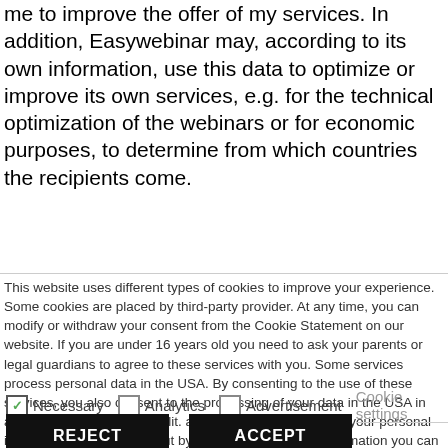me to improve the offer of my services. In addition, Easywebinar may, according to its own information, use this data to optimize or improve its own services, e.g. for the technical optimization of the webinars or for economic purposes, to determine from which countries the recipients come.
This website uses different types of cookies to improve your experience. Some cookies are placed by third-party provider. At any time, you can modify or withdraw your consent from the Cookie Statement on our website. If you are under 16 years old you need to ask your parents or legal guardians to agree to these services with you. Some services process personal data in the USA. By consenting to the use of these services, you also consent to the processing of your data in the USA in accordance with Art. 49 (1) lit. a GDPR. In case of sale of your personal information, you may opt out by using the link . More information you can find in our privacy policy. Read More
Necessary (checked), Analytics (unchecked), Advertisement (unchecked), Cookie settings
REJECT | ACCEPT